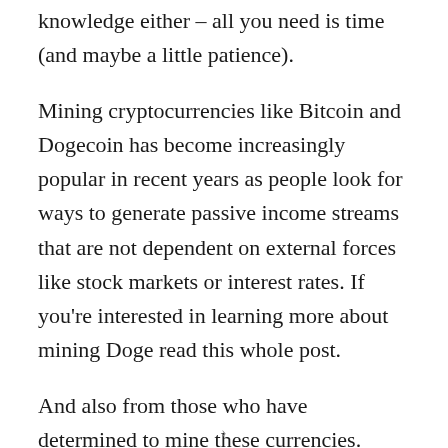knowledge either – all you need is time (and maybe a little patience).
Mining cryptocurrencies like Bitcoin and Dogecoin has become increasingly popular in recent years as people look for ways to generate passive income streams that are not dependent on external forces like stock markets or interest rates. If you're interested in learning more about mining Doge read this whole post.
And also from those who have determined to mine these currencies. Good and bad are the criticisms regarding them. However, they are still expanding.